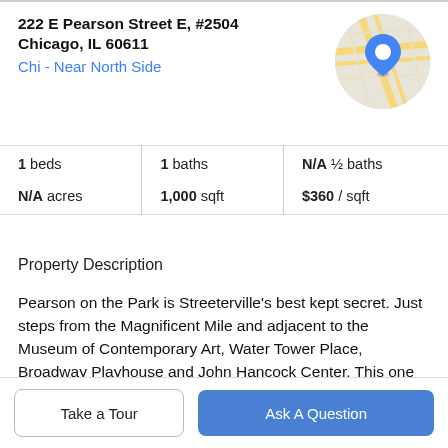222 E Pearson Street E, #2504
Chicago, IL 60611
Chi - Near North Side
[Figure (map): Circular map thumbnail showing street map with a blue location pin marker]
| Stat | Value |
| --- | --- |
| beds | 1 |
| baths | 1 |
| ½ baths | N/A |
| acres | N/A |
| sqft | 1,000 |
| / sqft | $360 |
Property Description
Pearson on the Park is Streeterville's best kept secret. Just steps from the Magnificent Mile and adjacent to the Museum of Contemporary Art, Water Tower Place, Broadway Playhouse and John Hancock Center. This one bedroom, one bath southern exposure condo is always